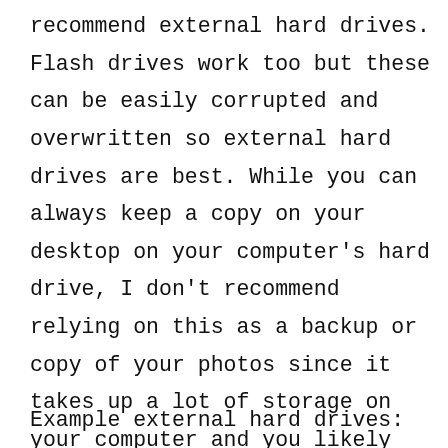recommend external hard drives. Flash drives work too but these can be easily corrupted and overwritten so external hard drives are best. While you can always keep a copy on your desktop on your computer's hard drive, I don't recommend relying on this as a backup or copy of your photos since it takes up a lot of storage on your computer and you likely take your laptop to a lot of places, they crash, they get stolen, we upgrade them, etc.
Example external hard drives: La Cie